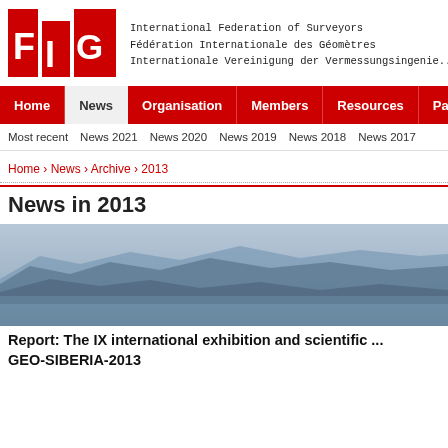[Figure (logo): FIG logo - red squares with white letters F, I, G]
International Federation of Surveyors
Fédération Internationale des Géomètres
Internationale Vereinigung der Vermessungsingenieure
Home | News | Organisation | Members | Resources | Partners
Most recent  News 2021  News 2020  News 2019  News 2018  News 2017
Home › News › Archive › 2013
News in 2013
[Figure (photo): Landscape photo of mountains and water, Lake Baikal area, blue-grey tones]
Report: The IX international exhibition and scientific ... GEO-SIBERIA-2013